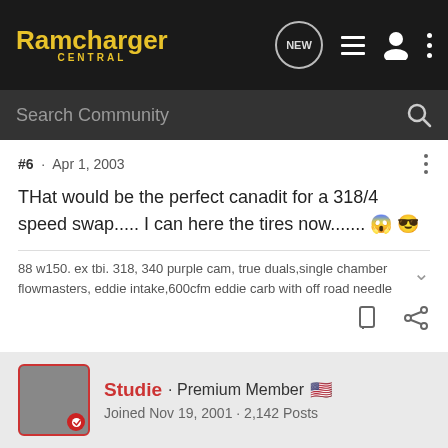Ramcharger Central
Search Community
#6 · Apr 1, 2003
THat would be the perfect canadit for a 318/4 speed swap..... I can here the tires now....... 😱😎
88 w150. ex tbi. 318, 340 purple cam, true duals,single chamber flowmasters, eddie intake,600cfm eddie carb with off road needle
Studie · Premium Member 🇺🇸 Joined Nov 19, 2001 · 2,142 Posts